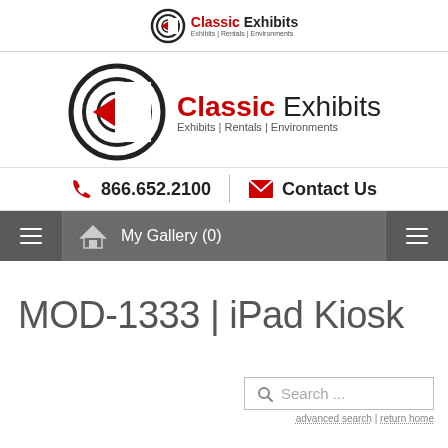[Figure (logo): Classic Exhibits logo in top header bar - small version with circular C icon, 'Classic Exhibits' text and tagline 'Exhibits | Rentals | Environments']
[Figure (logo): Classic Exhibits logo - large version with circular C icon, 'Classic Exhibits' text and tagline 'Exhibits | Rentals | Environments']
866.652.2100
Contact Us
My Gallery (0)
MOD-1333 | iPad Kiosk
Search ...
advanced search | return home